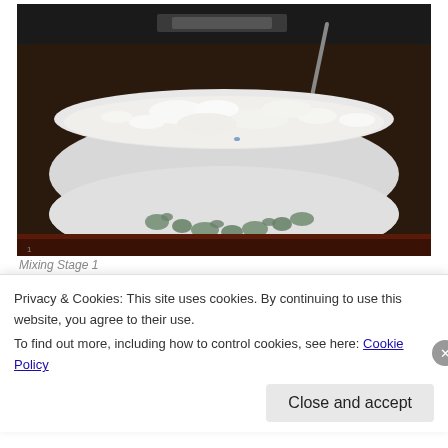[Figure (photo): A white floral bowl filled with a white creamy mixture being stirred with a spoon, sitting on a dark red/brown surface.]
Mixing Stage 1
After we stirred for a bit with a spoon we decided the
Privacy & Cookies: This site uses cookies. By continuing to use this website, you agree to their use.
To find out more, including how to control cookies, see here: Cookie Policy